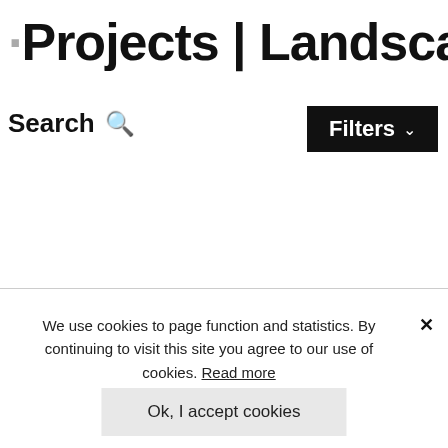Projects | Landsca...
Search
Filters
We use cookies to page function and statistics. By continuing to visit this site you agree to our use of cookies. Read more
Ok, I accept cookies